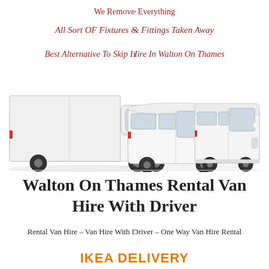We Remove Everything
All Sort OF Fixtures & Fittings Taken Away
Best Alternative To Skip Hire In Walton On Thames
[Figure (photo): Three white vans/trucks of different sizes arranged side by side — a large box truck on the left, a medium transit van in the middle, and a smaller van on the right.]
Walton On Thames Rental Van Hire With Driver
Rental Van Hire – Van Hire With Driver – One Way Van Hire Rental
IKEA DELIVERY